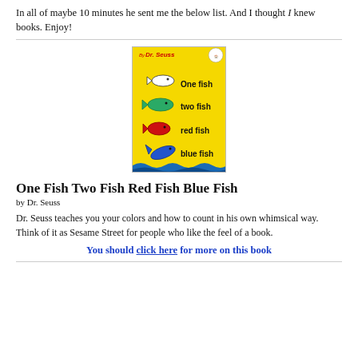In all of maybe 10 minutes he sent me the below list. And I thought I knew books. Enjoy!
[Figure (illustration): Book cover of 'One Fish Two Fish Red Fish Blue Fish' by Dr. Seuss. Yellow background with cartoon fish illustrations and the title text.]
One Fish Two Fish Red Fish Blue Fish
by Dr. Seuss
Dr. Seuss teaches you your colors and how to count in his own whimsical way. Think of it as Sesame Street for people who like the feel of a book.
You should click here for more on this book